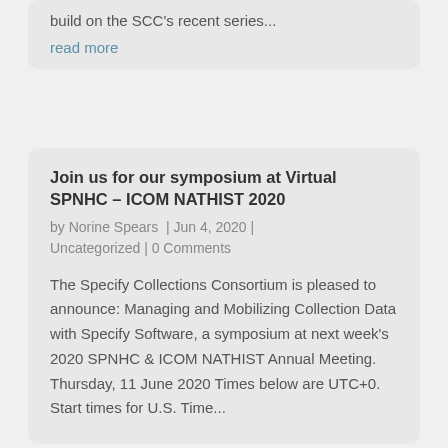build on the SCC's recent series...
read more
Join us for our symposium at Virtual SPNHC – ICOM NATHIST 2020
by Norine Spears | Jun 4, 2020 | Uncategorized | 0 Comments
The Specify Collections Consortium is pleased to announce: Managing and Mobilizing Collection Data with Specify Software, a symposium at next week's 2020 SPNHC & ICOM NATHIST Annual Meeting. Thursday, 11 June 2020 Times below are UTC+0. Start times for U.S. Time...